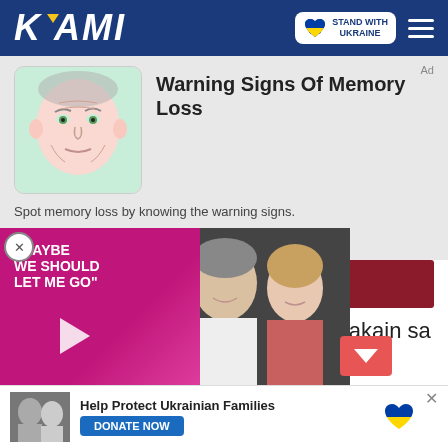KAMI — Stand With Ukraine
[Figure (screenshot): Advertisement with illustration of elderly man face and text 'Warning Signs Of Memory Loss']
Spot memory loss by knowing the warning signs.
SimpleBrainFix
Learn More
[Figure (photo): Video overlay with pink background and quote 'MAYBE WE SHOULD LET ME GO' with couple photo]
na ng aming ipapakain sa
Help Protect Ukrainian Families
DONATE NOW